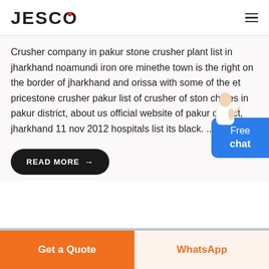JESCO
Crusher company in pakur stone crusher plant list in jharkhand noamundi iron ore minethe town is the right on the border of jharkhand and orissa with some of the et pricestone crusher pakur list of crusher of ston chipes in pakur district, about us official website of pakur district, jharkhand 11 nov 2012 hospitals list its black. ...
READ MORE →
Free chat
[Figure (photo): Bottom section with blue-gray background and partial image of industrial equipment]
Get a Quote
WhatsApp